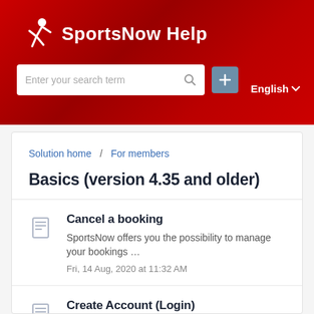SportsNow Help
Solution home / For members
Basics (version 4.35 and older)
Cancel a booking
SportsNow offers you the possibility to manage your bookings ...
Fri, 14 Aug, 2020 at 11:32 AM
Create Account (Login)
It only takes a few steps to create a SportsNow account (login)